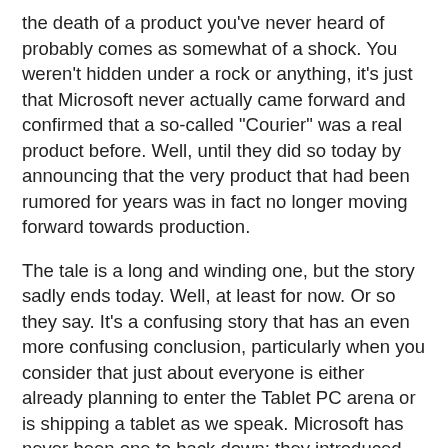the death of a product you've never heard of probably comes as somewhat of a shock. You weren't hidden under a rock or anything, it's just that Microsoft never actually came forward and confirmed that a so-called "Courier" was a real product before. Well, until they did so today by announcing that the very product that had been rumored for years was in fact no longer moving forward towards production.
The tale is a long and winding one, but the story sadly ends today. Well, at least for now. Or so they say. It's a confusing story that has an even more confusing conclusion, particularly when you consider that just about everyone is either already planning to enter the Tablet PC arena or is shipping a tablet as we speak. Microsoft has never been one to back down; they introduced the Zune even in the face of unsurmountable competition from the iPod, and Windows Mobile was effectively put on the back burner as they created Windows Phone 7 to compete with